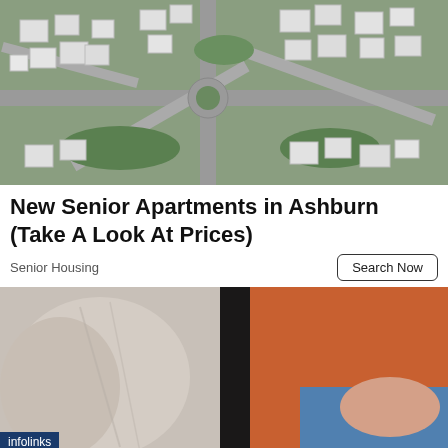[Figure (photo): Aerial view of a residential housing development with white cubic buildings, green lawns, and intersecting roads]
New Senior Apartments in Ashburn (Take A Look At Prices)
Senior Housing
Search Now
[Figure (photo): Medical or healthcare related image showing a person's arm and someone in an orange top, with an infolinks badge overlay]
[Figure (infographic): BitLife advertisement banner with emoji characters (devil, shrug person, angel), sperm icon, BitLife logo in yellow, and REAL CHOICES text on black background]